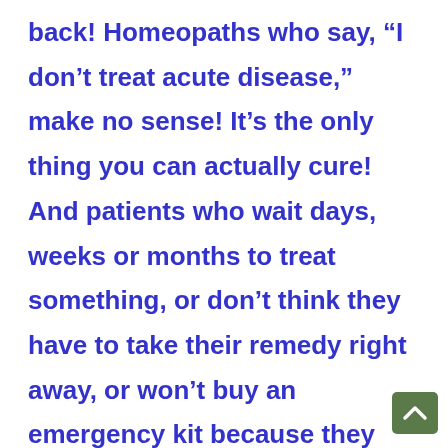back!  Homeopaths who say, “I don’t treat acute disease,” make no sense!  It’s the only thing you can actually cure!  And patients who wait days, weeks or months to treat something, or don’t think they have to take their remedy right away, or won’t buy an emergency kit because they think they have plenty of time to go to the health food store “tomorrow” to pick up their remedy, I have to tell you: you’ve